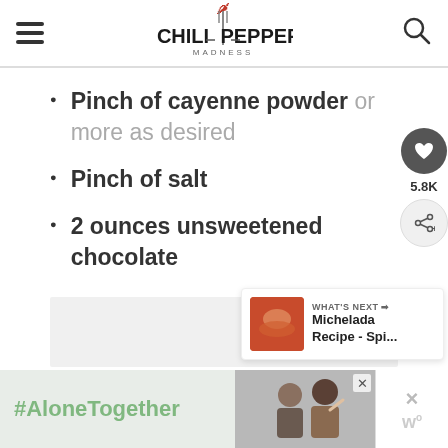Chili Pepper Madness
Pinch of cayenne powder or more as desired
Pinch of salt
2 ounces unsweetened chocolate
[Figure (infographic): Social sidebar with heart/love button showing 5.8K count and share button]
[Figure (infographic): What's Next card showing Michelada Recipe - Spi... with thumbnail]
[Figure (infographic): #AloneTogether ad banner with photo of two people]